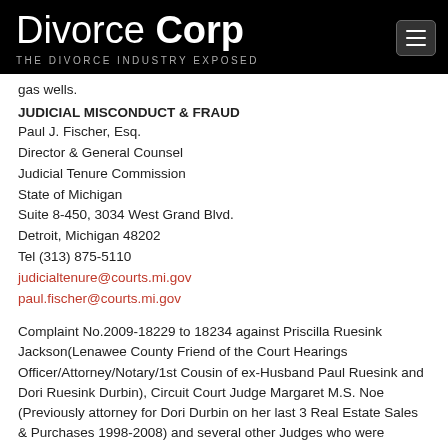Divorce Corp — THE DIVORCE INDUSTRY EXPOSED
gas wells.
JUDICIAL MISCONDUCT & FRAUD
Paul J. Fischer, Esq.
Director & General Counsel
Judicial Tenure Commission
State of Michigan
Suite 8-450, 3034 West Grand Blvd.
Detroit, Michigan 48202
Tel (313) 875-5110
judicialtenure@courts.mi.gov
paul.fischer@courts.mi.gov
Complaint No.2009-18229 to 18234 against Priscilla Ruesink Jackson(Lenawee County Friend of the Court Hearings Officer/Attorney/Notary/1st Cousin of ex-Husband Paul Ruesink and Dori Ruesink Durbin), Circuit Court Judge Margaret M.S. Noe (Previously attorney for Dori Durbin on her last 3 Real Estate Sales & Purchases 1998-2008) and several other Judges who were directly involved in the